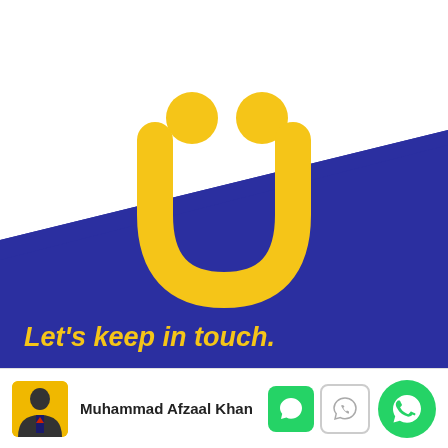[Figure (logo): Yellow smiley face logo (Ufone/similar) on white background with blue diagonal band]
Let's keep in touch.
[Figure (infographic): Bottom contact bar with profile photo of Muhammad Afzaal Khan, name text, and WhatsApp contact icons]
Muhammad Afzaal Khan